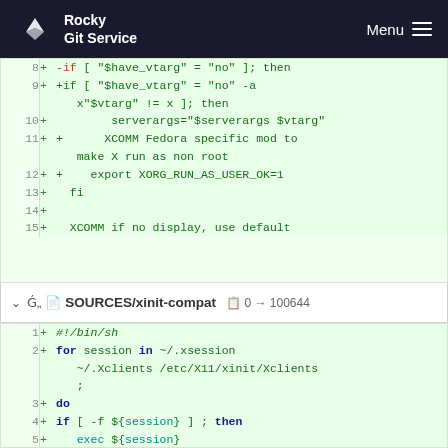Rocky Git Service  Menu
[Figure (screenshot): Git diff code viewer showing lines 8-15 with shell script additions including if conditions checking $have_vtarg variable, serverargs assignment, XCOMM Fedora comment, export XORG_RUN_AS_USER_OK=1, fi closing, and XCOMM if no display use default]
SOURCES/xinit-compat  0 → 100644
[Figure (screenshot): Git diff code viewer showing lines 1-6 of SOURCES/xinit-compat file with shell script: #!/bin/sh, for session in ~/.xsession ~/.Xclients /etc/X11/xinit/Xclients ;, do, if [ -f ${session} ] ; then, exec ${session}, fi]